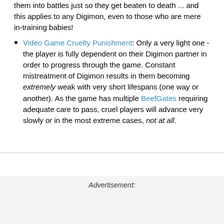them into battles just so they get beaten to death ... and this applies to any Digimon, even to those who are mere in-training babies!
Video Game Cruelty Punishment: Only a very light one - the player is fully dependent on their Digimon partner in order to progress through the game. Constant mistreatment of Digimon results in them becoming extremely weak with very short lifespans (one way or another). As the game has multiple BeefGates requiring adequate care to pass, cruel players will advance very slowly or in the most extreme cases, not at all.
Advertisement: